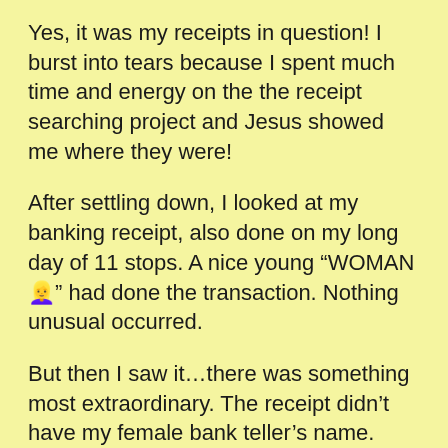Yes, it was my receipts in question! I burst into tears because I spent much time and energy on the the receipt searching project and Jesus showed me where they were!
After settling down, I looked at my banking receipt, also done on my long day of 11 stops. A nice young “WOMAN 🧑” had done the transaction. Nothing unusual occurred.
But then I saw it…there was something most extraordinary. The receipt didn’t have my female bank teller’s name. Look at my picture above.
JESUS HAD TAKEN CARE OF ME! ❤️❤️❤️❤️❤️